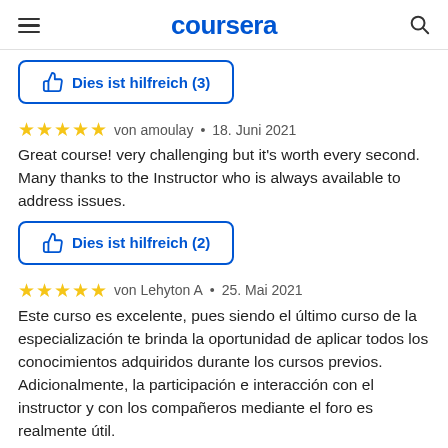coursera
Dies ist hilfreich (3)
von amoulay • 18. Juni 2021
Great course! very challenging but it's worth every second. Many thanks to the Instructor who is always available to address issues.
Dies ist hilfreich (2)
von Lehyton A • 25. Mai 2021
Este curso es excelente, pues siendo el último curso de la especialización te brinda la oportunidad de aplicar todos los conocimientos adquiridos durante los cursos previos. Adicionalmente, la participación e interacción con el instructor y con los compañeros mediante el foro es realmente útil.